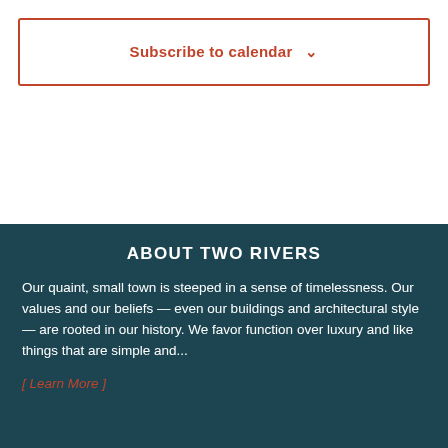Subscribe to calendar ∨
ABOUT TWO RIVERS
Our quaint, small town is steeped in a sense of timelessness.  Our values and our beliefs — even our buildings and architectural style — are rooted in our history.  We favor function over luxury and like things that are simple and...
[ Learn More ]